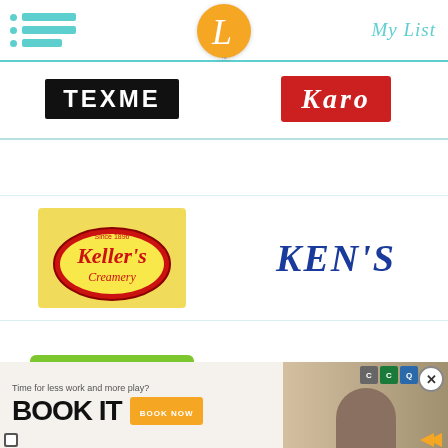My List - recipe/food brand directory page
[Figure (logo): TEXME brand logo - white text on black background]
[Figure (logo): Karo brand logo - white italic text on red background]
[Figure (logo): Keller's Creamery logo - oval badge on yellow background]
[Figure (logo): KEN'S logo - blue italic serif text]
[Figure (logo): kidfresh logo - white text on green background, subtitle: Healthy Frozen Kid's Meals]
[Figure (logo): kikkoman logo - orange text with registered trademark circle]
[Figure (screenshot): Advertisement banner: Time for less work and more play? BOOK IT with BOOK NOW button and travel photo]